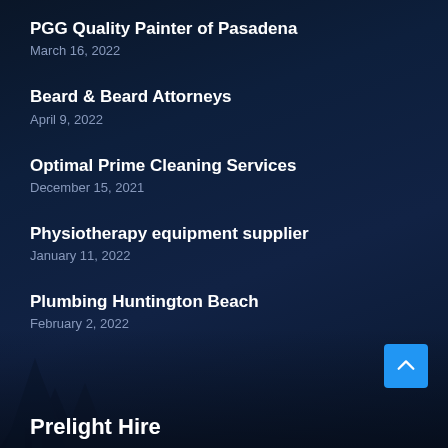PGG Quality Painter of Pasadena
March 16, 2022
Beard & Beard Attorneys
April 9, 2022
Optimal Prime Cleaning Services
December 15, 2021
Physiotherapy equipment supplier
January 11, 2022
Plumbing Huntington Beach
February 2, 2022
Prelight Hire